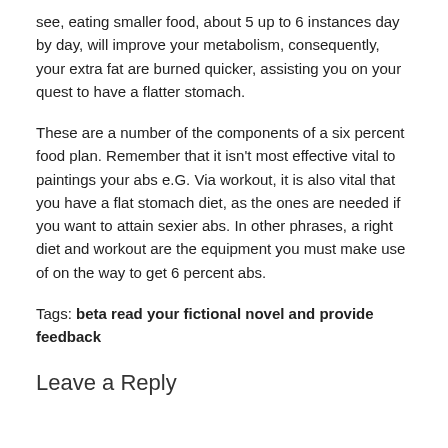see, eating smaller food, about 5 up to 6 instances day by day, will improve your metabolism, consequently, your extra fat are burned quicker, assisting you on your quest to have a flatter stomach.
These are a number of the components of a six percent food plan. Remember that it isn't most effective vital to paintings your abs e.G. Via workout, it is also vital that you have a flat stomach diet, as the ones are needed if you want to attain sexier abs. In other phrases, a right diet and workout are the equipment you must make use of on the way to get 6 percent abs.
Tags: beta read your fictional novel and provide feedback
Leave a Reply